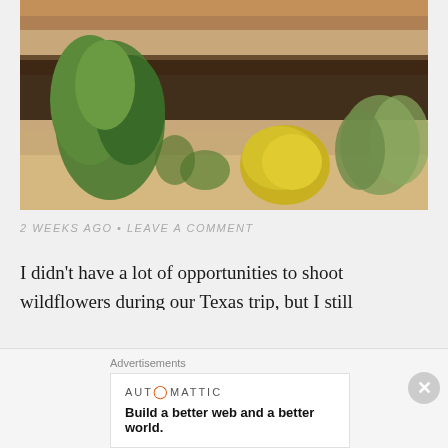[Figure (photo): Desert landscape photograph showing green shrubs and a yellow flowering bush against a sandy background with a large rock or cliff face in the upper portion]
2 WEEKS AGO • LEAVE A COMMENT
I didn't have a lot of opportunities to shoot wildflowers during our Texas trip, but I still managed to find a few, even in the desert. Here are a few of my recent favorites,
[Figure (other): Advertisement overlay: AUTOMATTIC logo with tagline 'Build a better web and a better world.']